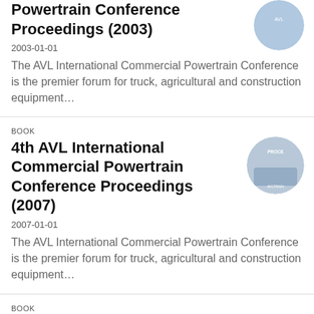Powertrain Conference Proceedings (2003)
2003-01-01
The AVL International Commercial Powertrain Conference is the premier forum for truck, agricultural and construction equipment...
BOOK
4th AVL International Commercial Powertrain Conference Proceedings (2007)
2007-01-01
The AVL International Commercial Powertrain Conference is the premier forum for truck, agricultural and construction equipment...
BOOK
Honda R&D Technical Review April 2016